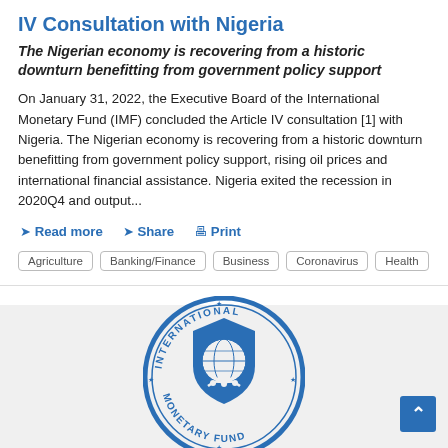IV Consultation with Nigeria
The Nigerian economy is recovering from a historic downturn benefitting from government policy support
On January 31, 2022, the Executive Board of the International Monetary Fund (IMF) concluded the Article IV consultation [1] with Nigeria. The Nigerian economy is recovering from a historic downturn benefitting from government policy support, rising oil prices and international financial assistance. Nigeria exited the recession in 2020Q4 and output...
Read more
Share
Print
Agriculture  Banking/Finance  Business  Coronavirus  Health
[Figure (logo): International Monetary Fund circular seal/logo in blue]